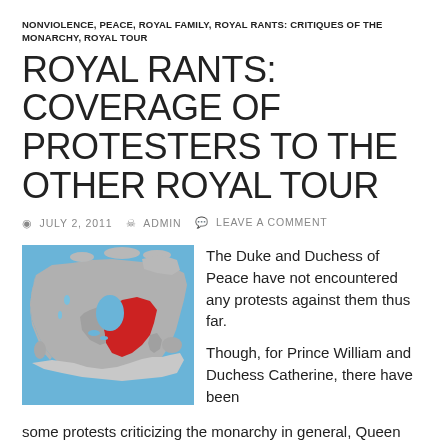NONVIOLENCE, PEACE, ROYAL FAMILY, ROYAL RANTS: CRITIQUES OF THE MONARCHY, ROYAL TOUR
ROYAL RANTS: COVERAGE OF PROTESTERS TO THE OTHER ROYAL TOUR
JULY 2, 2011   ADMIN   LEAVE A COMMENT
[Figure (map): Map of Canada with Quebec province highlighted in red, rest of country in grey, water in blue]
The Duke and Duchess of Peace have not encountered any protests against them thus far.

Though, for Prince William and Duchess Catherine, there have been some protests criticizing the monarchy in general, Queen Elizabeth, and the cost of their tour.